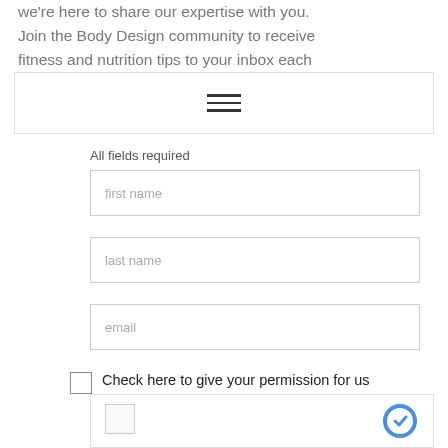we're here to share our expertise with you. Join the Body Design community to receive fitness and nutrition tips to your inbox each
[Figure (other): Hamburger menu icon with three horizontal lines inside a bordered box]
All fields required
first name
last name
email
Check here to give your permission for us to contact you!
[Figure (other): reCAPTCHA widget box with checkbox on the left and reCAPTCHA logo on the right]